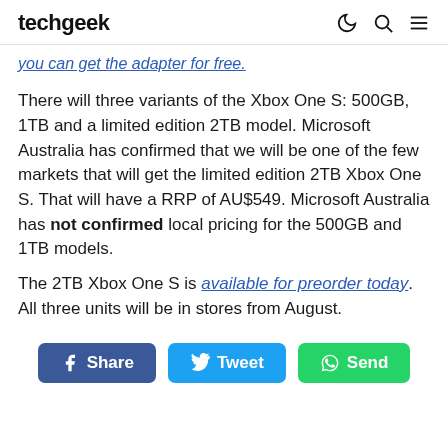techgeek
you can get the adapter for free.
There will three variants of the Xbox One S: 500GB, 1TB and a limited edition 2TB model. Microsoft Australia has confirmed that we will be one of the few markets that will get the limited edition 2TB Xbox One S. That will have a RRP of AU$549. Microsoft Australia has not confirmed local pricing for the 500GB and 1TB models.
The 2TB Xbox One S is available for preorder today. All three units will be in stores from August.
Share | Tweet | Send